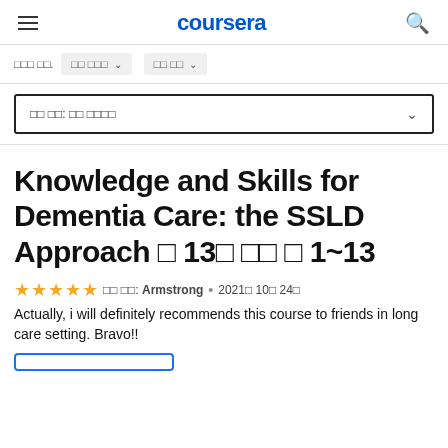coursera
□□ □□.  □□ □□□  □□ □□
□□ □□: □□ □□□□□
Knowledge and Skills for Dementia Care: the SSLD Approach 주 13주 모두 주 1~13
★★★★★ □□ □□: Armstrong • 2021□ 10□ 24□
Actually, i will definitely recommends this course to friends in long care setting. Bravo!!